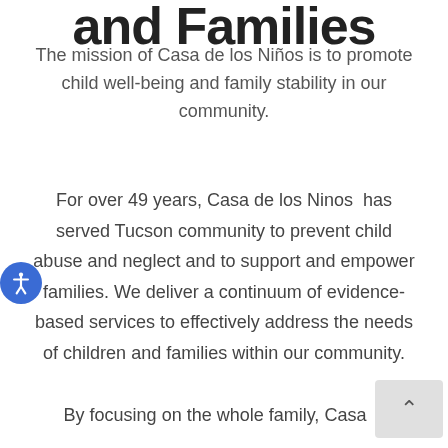and Families
The mission of Casa de los Niños is to promote child well-being and family stability in our community.
For over 49 years, Casa de los Ninos has served Tucson community to prevent child abuse and neglect and to support and empower families. We deliver a continuum of evidence-based services to effectively address the needs of children and families within our community.
By focusing on the whole family, Casa